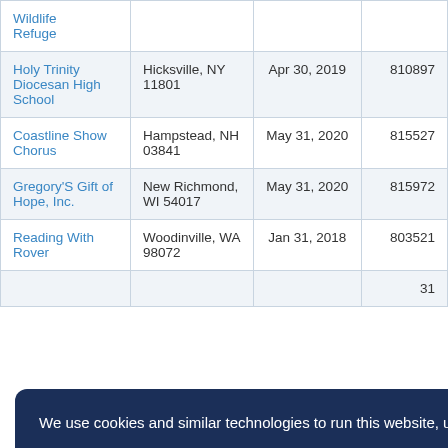| Name | Address | Date | ID |
| --- | --- | --- | --- |
| Wildlife Refuge |  |  |  |
| Holy Trinity Diocesan High School | Hicksville, NY 11801 | Apr 30, 2019 | 810897 |
| Coastline Show Chorus | Hampstead, NH 03841 | May 31, 2020 | 815527 |
| Gregory'S Gift of Hope, Inc. | New Richmond, WI 54017 | May 31, 2020 | 815972 |
| Reading With Rover | Woodinville, WA 98072 | Jan 31, 2018 | 803521 |
| [partial row] |  |  | 31 |
We use cookies and similar technologies to run this website, understand how you use it, and to